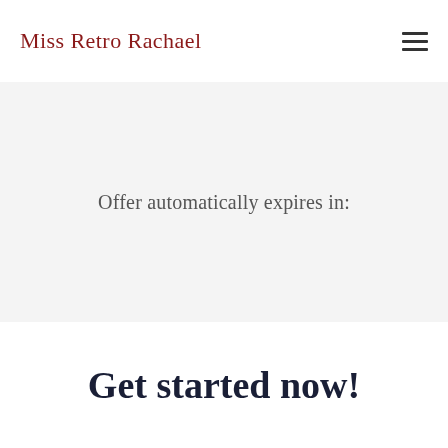Miss Retro Rachael
Offer automatically expires in:
Get started now!